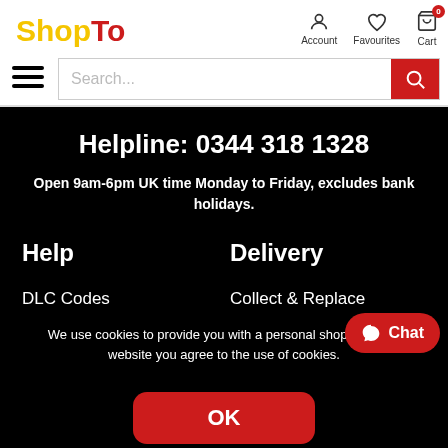[Figure (logo): ShopTo logo with 'Shop' in yellow and 'To' in red]
Account  Favourites  Cart
Search...
Helpline: 0344 318 1328
Open 9am-6pm UK time Monday to Friday, excludes bank holidays.
Help
Delivery
DLC Codes
Collect & Replace
We use cookies to provide you with a personal shopping ca... website you agree to the use of cookies.
OK